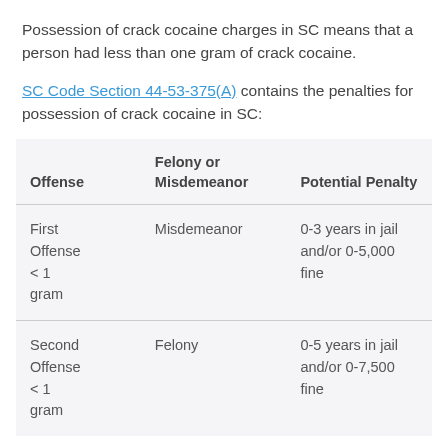Possession of crack cocaine charges in SC means that a person had less than one gram of crack cocaine.
SC Code Section 44-53-375(A) contains the penalties for possession of crack cocaine in SC:
| Offense | Felony or Misdemeanor | Potential Penalty |
| --- | --- | --- |
| First Offense < 1 gram | Misdemeanor | 0-3 years in jail and/or 0-5,000 fine |
| Second Offense < 1 gram | Felony | 0-5 years in jail and/or 0-7,500 fine |